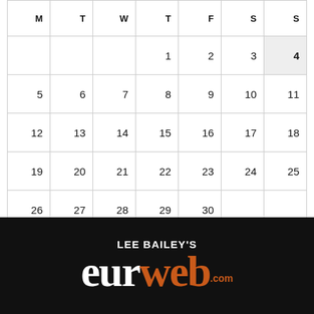| M | T | W | T | F | S | S |
| --- | --- | --- | --- | --- | --- | --- |
|  |  |  | 1 | 2 | 3 | 4 |
| 5 | 6 | 7 | 8 | 9 | 10 | 11 |
| 12 | 13 | 14 | 15 | 16 | 17 | 18 |
| 19 | 20 | 21 | 22 | 23 | 24 | 25 |
| 26 | 27 | 28 | 29 | 30 |  |  |
« Aug
[Figure (logo): Lee Bailey's EURweb logo — white text 'LEE BAILEY'S' above large text 'eur' in white and 'web' in orange on black background]